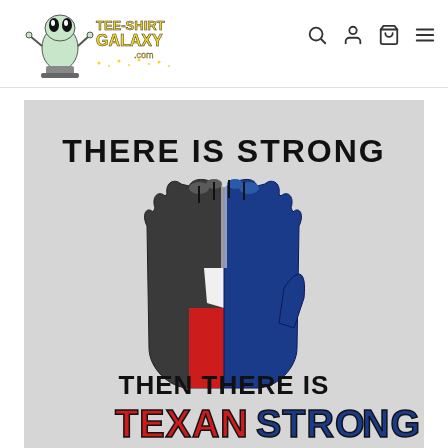[Figure (logo): Tee-Shirt Galaxy logo with alien mascot and galaxy font text]
[Figure (illustration): Raised fist graphic with Texas flag colors (red, white, blue) with text 'THERE IS STRONG' above and 'THEN THERE IS TEXAN STRONG' below, on light gray background]